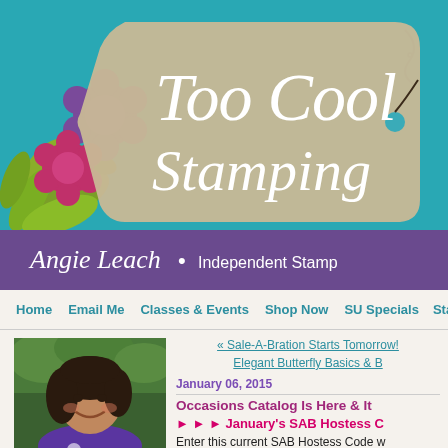[Figure (illustration): Too Cool Stamping blog header banner with teal background, decorative flowers (purple and pink), a tan tag shape with script text 'Too Cool Stamping', and a purple bar at the bottom reading 'Angie Leach • Independent Stamp']
Home  Email Me  Classes & Events  Shop Now  SU Specials  Sta
[Figure (photo): Headshot photo of a smiling woman with dark curly hair wearing a purple shirt, outdoors with green trees in background]
« Sale-A-Bration Starts Tomorrow!
Elegant Butterfly Basics & B
January 06, 2015
Occasions Catalog Is Here & It
► ► ► January's SAB Hostess C
Enter this current SAB Hostess Code w